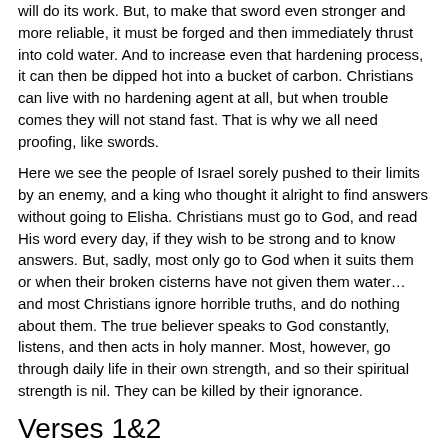will do its work. But, to make that sword even stronger and more reliable, it must be forged and then immediately thrust into cold water. And to increase even that hardening process, it can then be dipped hot into a bucket of carbon. Christians can live with no hardening agent at all, but when trouble comes they will not stand fast. That is why we all need proofing, like swords.
Here we see the people of Israel sorely pushed to their limits by an enemy, and a king who thought it alright to find answers without going to Elisha. Christians must go to God, and read His word every day, if they wish to be strong and to know answers. But, sadly, most only go to God when it suits them or when their broken cisterns have not given them water… and most Christians ignore horrible truths, and do nothing about them. The true believer speaks to God constantly, listens, and then acts in holy manner. Most, however, go through daily life in their own strength, and so their spiritual strength is nil. They can be killed by their ignorance.
Verses 1&2
Then Elisha said, Hear ye the word of the LORD; Thus saith the LORD, To morrow about this time shall a measure of fine flour